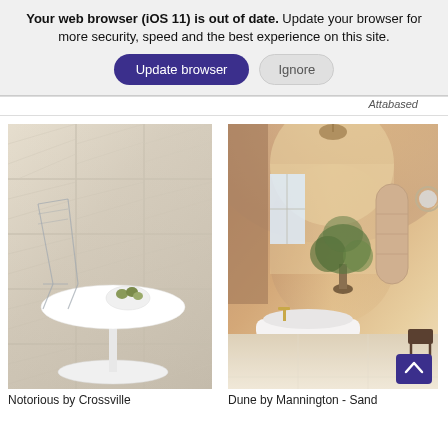Your web browser (iOS 11) is out of date. Update your browser for more security, speed and the best experience on this site.
Update browser | Ignore
Attabased
[Figure (photo): Beige/tan crosshatch tile floor with a white tulip-style table and bowl of olives on top]
[Figure (photo): Warm terracotta-toned bathroom interior with arched ceiling, freestanding white bathtub, potted tree, and neutral floor tiles]
Notorious by Crossville
Dune by Mannington - Sand